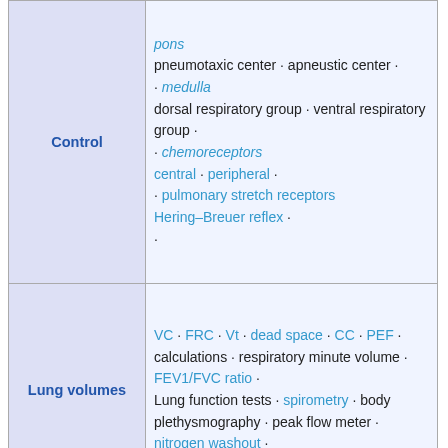| Category | Content |
| --- | --- |
| Control | pons · pneumotaxic center · apneustic center · · medulla · dorsal respiratory group · ventral respiratory group · · chemoreceptors · central · peripheral · · pulmonary stretch receptors Hering–Breuer reflex · · |
| Lung volumes | VC · FRC · Vt · dead space · CC · PEF · calculations · respiratory minute volume · FEV1/FVC ratio · Lung function tests · spirometry · body plethysmography · peak flow meter · nitrogen washout · |
| Circulation | pulmonary circulation · hypoxic pulmonary vasoconstriction · pulmonary shunt · |
|  | ventilation (V) · Perfusion (Q) |